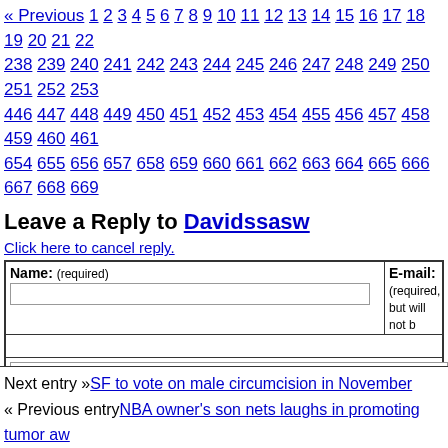« Previous 1 2 3 4 5 6 7 8 9 10 11 12 13 14 15 16 17 18 19 20 21 22 238 239 240 241 242 243 244 245 246 247 248 249 250 251 252 253 446 447 448 449 450 451 452 453 454 455 456 457 458 459 460 461 654 655 656 657 658 659 660 661 662 663 664 665 666 667 668 669
Leave a Reply to Davidssasw
Click here to cancel reply.
| Name: (required) | E-mail: (required, but will not be shown) |
| --- | --- |
| [input field] | [input field] |
| [textarea] |  |
CNN welcomes a lively and courteous discussion as long as you follow the Rules of our Terms of Service. Comments are not pre-screened before they post. You agree may be used, along with your name and profile picture, in accordance with our Pri license you have granted pursuant to our Terms of Service.
Next entry »SF to vote on male circumcision in November « Previous entryNBA owner's son nets laughs in promoting tumor aw